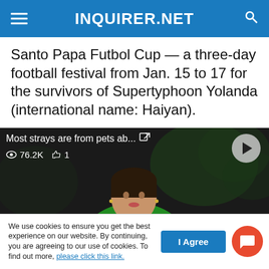INQUIRER.NET
Santo Papa Futbol Cup — a three-day football festival from Jan. 15 to 17 for the survivors of Supertyphoon Yolanda (international name: Haiyan).
[Figure (screenshot): Embedded video player showing a woman in a green top with video title 'Most strays are from pets ab...' and stats 76.2K views and 1 like]
We use cookies to ensure you get the best experience on our website. By continuing, you are agreeing to our use of cookies. To find out more, please click this link.